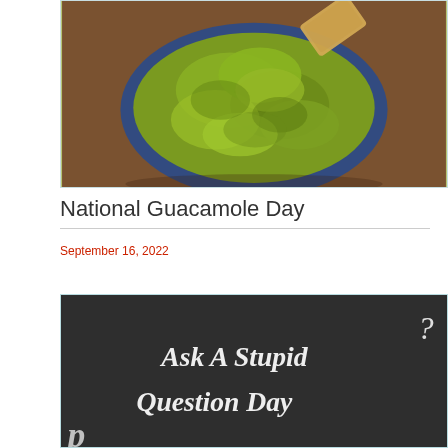[Figure (photo): Overhead photo of a bowl of guacamole with tortilla chips, dark blue bowl on wooden surface]
National Guacamole Day
September 16, 2022
[Figure (photo): Chalkboard sign reading 'Ask A Stupid Question Day' with a question mark, white chalk handwriting on dark blackboard]